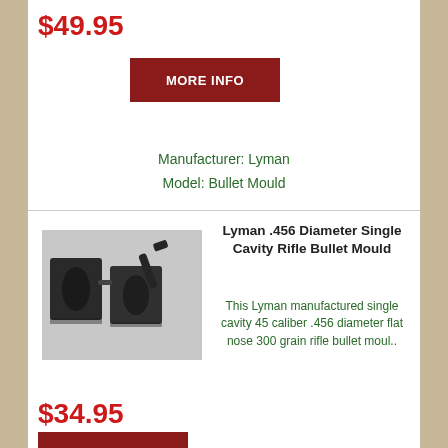$49.95
MORE INFO
Manufacturer: Lyman
Model: Bullet Mould
[Figure (photo): Two dark metal bullet mould blocks, one with a lever arm visible, photographed against a light background]
Lyman .456 Diameter Single Cavity Rifle Bullet Mould
This Lyman manufactured single cavity 45 caliber .456 diameter flat nose 300 grain rifle bullet moul..
$34.95
MORE INFO